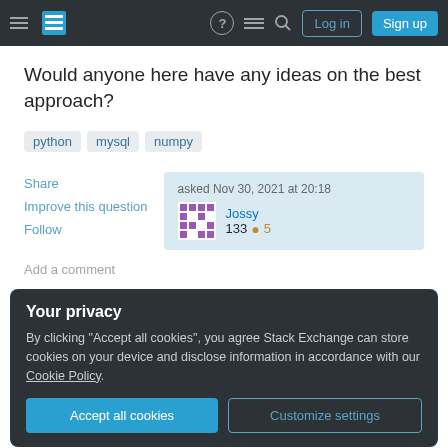Stack Exchange navigation bar with Log in and Sign up buttons
Would anyone here have any ideas on the best approach?
python
mysql
numpy
Share
Improve this question
Follow
asked Nov 30, 2021 at 20:18
Jossy
133  5
Add a comment
Your privacy
By clicking "Accept all cookies", you agree Stack Exchange can store cookies on your device and disclose information in accordance with our Cookie Policy.
Accept all cookies   Customize settings
doesn't do what you think it does: